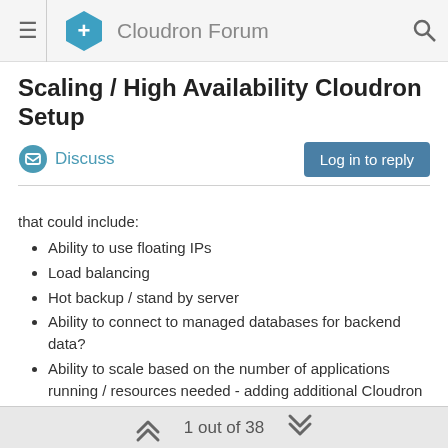Cloudron Forum
Scaling / High Availability Cloudron Setup
Discuss
that could include:
Ability to use floating IPs
Load balancing
Hot backup / stand by server
Ability to connect to managed databases for backend data?
Ability to scale based on the number of applications running / resources needed - adding additional Cloudron nodes?
I know these are all very complex features and I'm not even sure if its possible at all given the way Cloudron works but I was interested to know your thoughts if this had been discussed or touched on your roadmap?
I'm no expert on the above so apologies in advance. I know I'm
1 out of 38